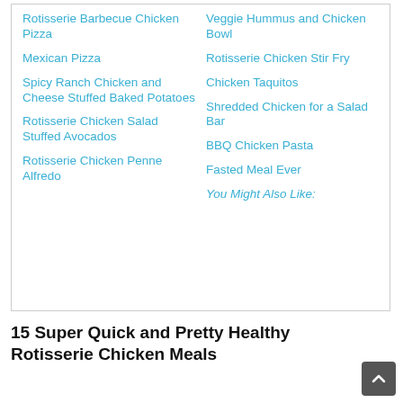Rotisserie Barbecue Chicken Pizza
Mexican Pizza
Spicy Ranch Chicken and Cheese Stuffed Baked Potatoes
Rotisserie Chicken Salad Stuffed Avocados
Rotisserie Chicken Penne Alfredo
Veggie Hummus and Chicken Bowl
Rotisserie Chicken Stir Fry
Chicken Taquitos
Shredded Chicken for a Salad Bar
BBQ Chicken Pasta
Fasted Meal Ever
You Might Also Like:
15 Super Quick and Pretty Healthy Rotisserie Chicken Meals